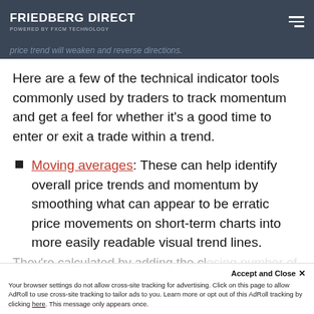FRIEDBERG DIRECT / POWERED BY FXCM TECHNOLOGY
price trend will weaken and reverse directions.
Here are a few of the technical indicator tools commonly used by traders to track momentum and get a feel for whether it's a good time to enter or exit a trade within a trend.
Moving averages: These can help identify overall price trends and momentum by smoothing what can appear to be erratic price movements on short-term charts into more easily readable visual trend lines.
They're calculated by adding the closing number of periods and
Your browser settings do not allow cross-site tracking for advertising. Click on this page to allow AdRoll to use cross-site tracking to tailor ads to you. Learn more or opt out of this AdRoll tracking by clicking here. This message only appears once.